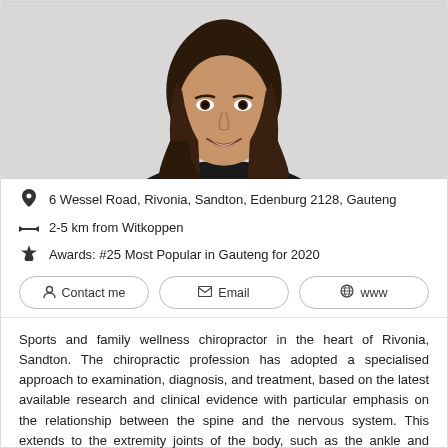[Figure (photo): Portrait photo of a young woman with long dark hair, smiling, wearing a dark top, against a light grey background.]
6 Wessel Road, Rivonia, Sandton, Edenburg 2128, Gauteng
2-5 km from Witkoppen
Awards: #25 Most Popular in Gauteng for 2020
Contact me | Email | www
Sports and family wellness chiropractor in the heart of Rivonia, Sandton. The chiropractic profession has adopted a specialised approach to examination, diagnosis, and treatment, based on the latest available research and clinical evidence with particular emphasis on the relationship between the spine and the nervous system. This extends to the extremity joints of the body, such as the ankle and shoulder joint. Chiropractic succeeds without the use of drugs and surgery, enabling patients to... Read more